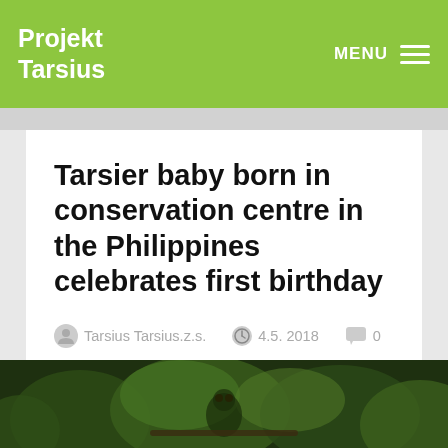Projekt Tarsius
Tarsier baby born in conservation centre in the Philippines celebrates first birthday
Tarsius Tarsius.z.s.  4.5. 2018  0
[Figure (photo): Close-up photo of a tarsier on a branch in a forest setting, dark green background]